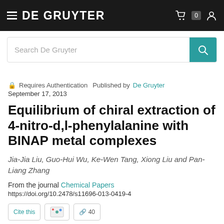DE GRUYTER
Requires Authentication  Published by De Gruyter  September 17, 2013
Equilibrium of chiral extraction of 4-nitro-d,l-phenylalanine with BINAP metal complexes
Jia-Jia Liu, Guo-Hui Wu, Ke-Wen Tang, Xiong Liu and Pan-Liang Zhang
From the journal Chemical Papers
https://doi.org/10.2478/s11696-013-0419-4